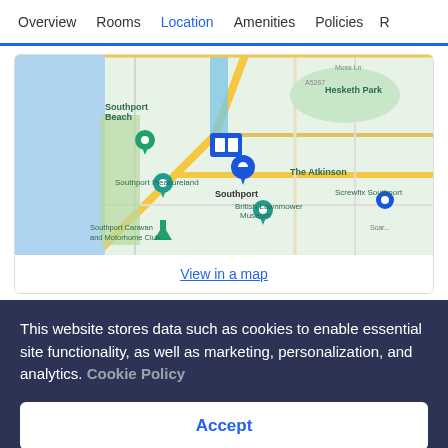Overview  Rooms  Location  Amenities  Policies  R
[Figure (map): Google Maps view centered on Southport, UK, showing Southport Beach, Southport Pleasureland, Hesketh Park, The Atkinson, British Lawnmower Museum, Screwfix Southport, Southport Caravan and Motorhome Club, with hotel pin marker.]
View in a map
This website stores data such as cookies to enable essential site functionality, as well as marketing, personalization, and analytics. Cookie Policy
Accept
Deny